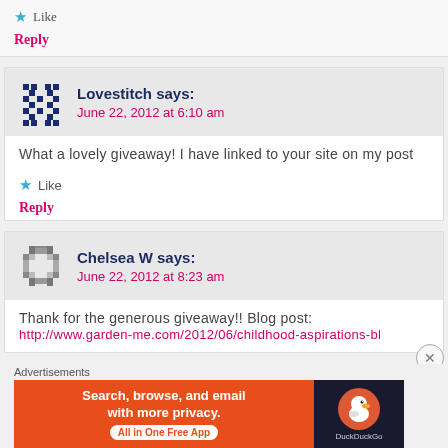Like
Reply
Lovestitch says: June 22, 2012 at 6:10 am
What a lovely giveaway! I have linked to your site on my post
Like
Reply
Chelsea W says: June 22, 2012 at 8:23 am
Thank for the generous giveaway!! Blog post:
http://www.garden-me.com/2012/06/childhood-aspirations-bl
Advertisements
[Figure (screenshot): DuckDuckGo advertisement banner: orange left panel with text 'Search, browse, and email with more privacy. All in One Free App' and dark right panel with DuckDuckGo logo]